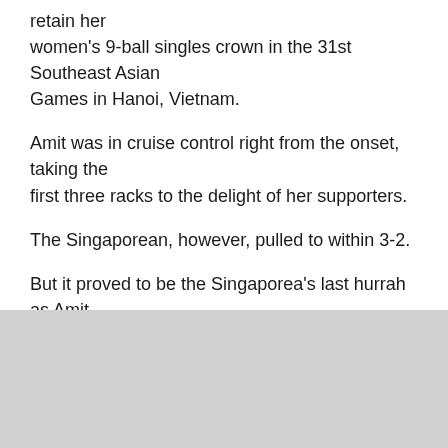retain her women's 9-ball singles crown in the 31st Southeast Asian Games in Hanoi, Vietnam.
Amit was in cruise control right from the onset, taking the first three racks to the delight of her supporters.
The Singaporean, however, pulled to within 3-2.
But it proved to be the Singaporea's last hurrah as Amit won the last four en route to completing her run inside the Ha Dong Gymnasium.
It was Amit's second straight gold and fifth overall in 9-ball